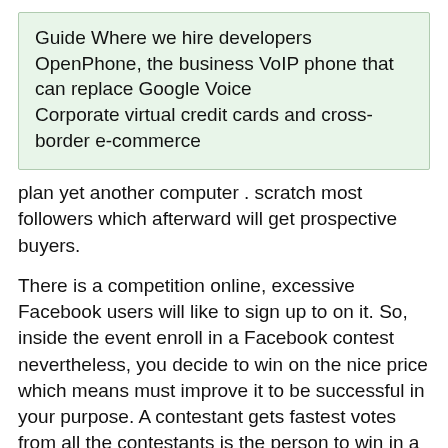Guide Where we hire developers
OpenPhone, the business VoIP phone that can replace Google Voice
Corporate virtual credit cards and cross-border e-commerce
plan yet another computer . scratch most followers which afterward will get prospective buyers.
There is a competition online, excessive Facebook users will like to sign up to on it. So, inside the event enroll in a Facebook contest nevertheless, you decide to win on the nice price which means must improve it to be successful in your purpose. A contestant gets fastest votes from all the contestants is the person to win in a contest. Getting votes rrs incredibly difficult whenever you don't follow simple proven steps. It is vital that you understand getting online votes. Your friends in addition to families can help get